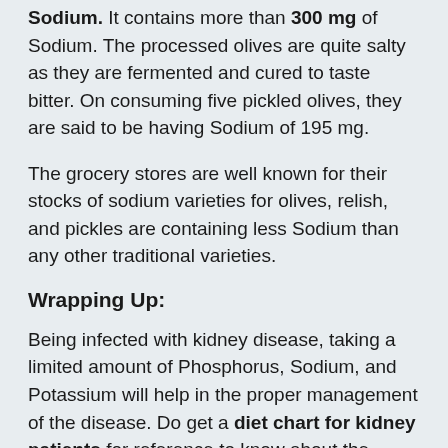Sodium. It contains more than 300 mg of Sodium. The processed olives are quite salty as they are fermented and cured to taste bitter. On consuming five pickled olives, they are said to be having Sodium of 195 mg.
The grocery stores are well known for their stocks of sodium varieties for olives, relish, and pickles are containing less Sodium than any other traditional varieties.
Wrapping Up:
Being infected with kidney disease, taking a limited amount of Phosphorus, Sodium, and Potassium will help in the proper management of the disease. Do get a diet chart for kidney patients for reference to know about the foods best for you. The foods listed above should be strictly avoided or can be consumed in a limited manner. According to the severity of the kidney damage, the nutrient intake and dietary restrictions will vary. Do look forward to speaking to